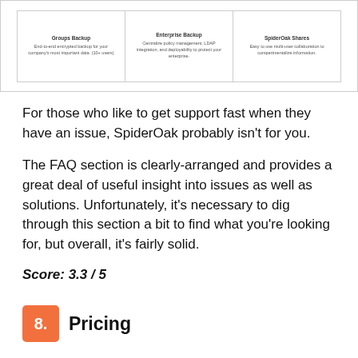[Figure (illustration): Three product cards: Groups Backup (End-to-end encrypted backup for your company's most important data. 10+ users), Enterprise Backup (Centralize policy management, LDAP integration, and deployability to protect your enterprise), SpiderOak Shares (Easy to use multi-user collaboration to compartmentalize information)]
For those who like to get support fast when they have an issue, SpiderOak probably isn't for you.
The FAQ section is clearly-arranged and provides a great deal of useful insight into issues as well as solutions. Unfortunately, it's necessary to dig through this section a bit to find what you're looking for, but overall, it's fairly solid.
Score: 3.3 / 5
8. Pricing
In terms of price, One Backup is definitely on the higher